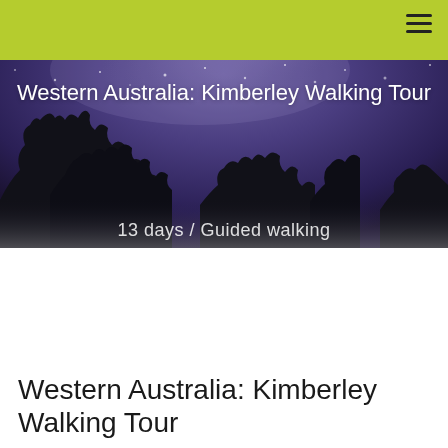[Figure (photo): Night sky / Milky Way photo with silhouetted bare trees in the foreground, purple and blue tones with stars visible]
Western Australia: Kimberley Walking Tour
13 days / Guided walking
Broome to Broome
Western Australia: Kimberley Walking Tour